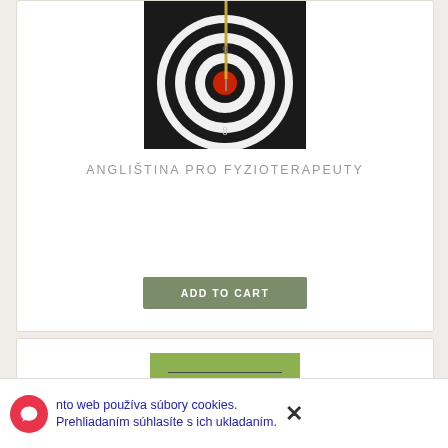[Figure (photo): Dartboard with a dart hit near the center bullseye, black and white rings with red center, numbers 9 and 8 visible]
ANGLIŠTINA PRO FYZIOTERAPEUTY
ADD TO CART
[Figure (photo): Green book cover with text: UNIVERZITA PAVLA JOZEFA ŠAFÁRIKA V KOŠICIACH, PRÍRODOVEDECKÁ FAKULTA]
Tento web používa súbory cookies. Prehliadaním súhlasíte s ich ukladaním.